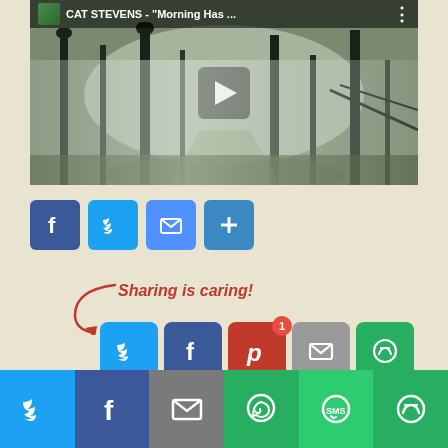[Figure (screenshot): YouTube video thumbnail showing Cat Stevens - Morning Has Broken, with a misty forest scene and play button]
[Figure (screenshot): Social share buttons: Facebook, Twitter, Email, and Plus icons in blue square buttons]
Sharing is caring!
[Figure (screenshot): Share buttons row: Twitter (blue), Facebook (dark blue), Pinterest with badge 1 (red), Email (gray), More (green)]
[Figure (screenshot): Bottom sharing bar with Twitter, Facebook, Email, WhatsApp, SMS, and More buttons]